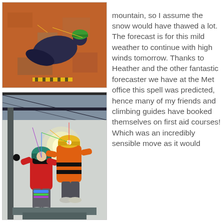[Figure (photo): Person in dark clothing wearing a green helmet, lying on an orange floor surface, appearing to be in a first aid or climbing training scenario indoors.]
[Figure (photo): Two people suspended by ropes inside a warehouse/indoor facility. One person in red jacket wearing a teal hat, another in orange high-visibility gear with a helmet with headlamp, performing a rope rescue or climbing training exercise.]
mountain, so I assume the snow would have thawed a lot. The forecast is for this mild weather to continue with high winds tomorrow. Thanks to Heather and the other fantastic forecaster we have at the Met office this spell was predicted, hence many of my friends and climbing guides have booked themselves on first aid courses! Which was an incredibly sensible move as it would